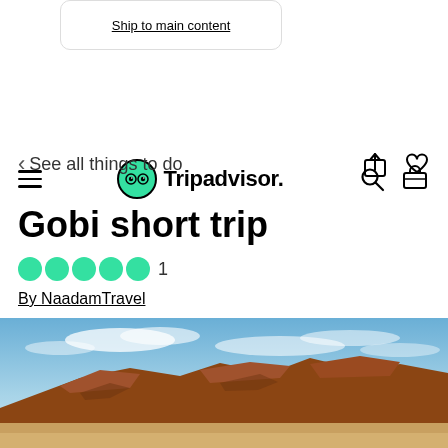[Figure (screenshot): Partial view of a card with underlined link text partially visible at top]
[Figure (logo): Tripadvisor navigation bar with hamburger menu, Tripadvisor owl logo and wordmark, search icon, and cart icon]
< See all things to do
Gobi short trip
5 green circles (rating) 1
By NaadamTravel
[Figure (photo): Landscape photograph of the Gobi Desert showing red/brown rocky formations under a blue sky with white clouds]